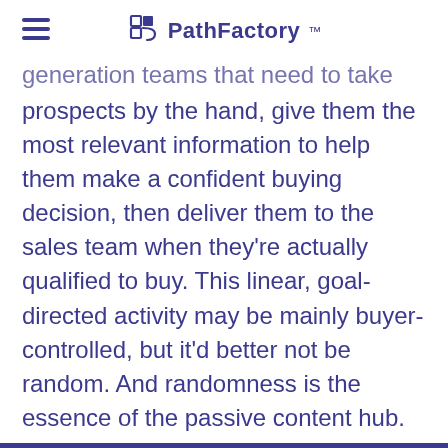PathFactory
generation teams that need to take prospects by the hand, give them the most relevant information to help them make a confident buying decision, then deliver them to the sales team when they're actually qualified to buy. This linear, goal-directed activity may be mainly buyer-controlled, but it'd better not be random. And randomness is the essence of the passive content hub.